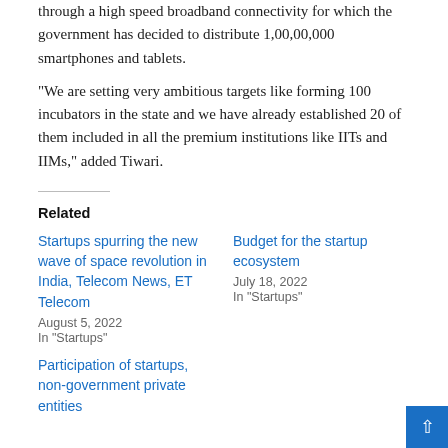through a high speed broadband connectivity for which the government has decided to distribute 1,00,00,000 smartphones and tablets.
“We are setting very ambitious targets like forming 100 incubators in the state and we have already established 20 of them included in all the premium institutions like IITs and IIMs,” added Tiwari.
Related
Startups spurring the new wave of space revolution in India, Telecom News, ET Telecom
August 5, 2022
In "Startups"
Budget for the startup ecosystem
July 18, 2022
In "Startups"
Participation of startups, non-government private entities